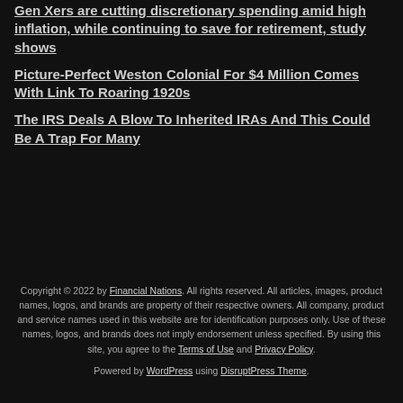Gen Xers are cutting discretionary spending amid high inflation, while continuing to save for retirement, study shows
Picture-Perfect Weston Colonial For $4 Million Comes With Link To Roaring 1920s
The IRS Deals A Blow To Inherited IRAs And This Could Be A Trap For Many
Copyright © 2022 by Financial Nations. All rights reserved. All articles, images, product names, logos, and brands are property of their respective owners. All company, product and service names used in this website are for identification purposes only. Use of these names, logos, and brands does not imply endorsement unless specified. By using this site, you agree to the Terms of Use and Privacy Policy.
Powered by WordPress using DisruptPress Theme.